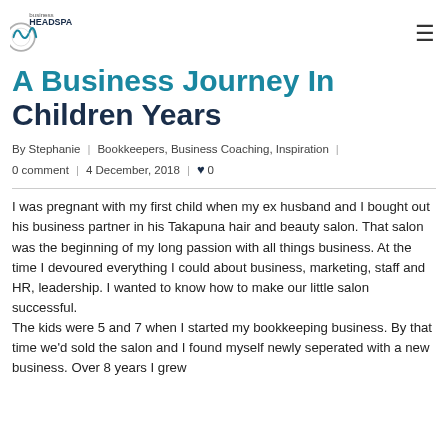business HEADSPACE
A Business Journey In Children Years
By Stephanie  |  Bookkeepers, Business Coaching, Inspiration  |  0 comment  |  4 December, 2018  |  ♥ 0
I was pregnant with my first child when my ex husband and I bought out his business partner in his Takapuna hair and beauty salon. That salon was the beginning of my long passion with all things business. At the time I devoured everything I could about business, marketing, staff and HR, leadership. I wanted to know how to make our little salon successful.
The kids were 5 and 7 when I started my bookkeeping business. By that time we'd sold the salon and I found myself newly seperated with a new business. Over 8 years I grew